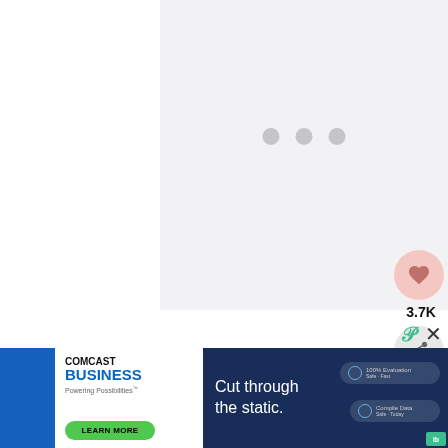[Figure (other): Large light gray loading placeholder area with three gray dots indicating content is loading]
[Figure (other): Pink circular like/favorite button with heart icon showing 3.7K likes, and a share button below it]
Start painting. Dip the
[Figure (other): Comcast Business advertisement banner with white left panel showing Comcast Business logo, Powering Possibilities tagline, Learn More button, and blue right panel with Cut through the static text and data pill graphics]